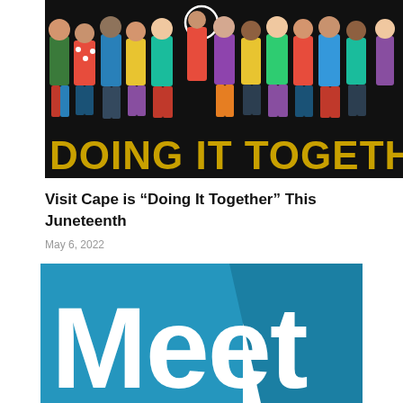[Figure (illustration): Colorful illustration of diverse group of people standing together with text 'DOING IT TOGETHER' in gold letters on black background]
Visit Cape is “Doing It Together” This Juneteenth
May 6, 2022
Comments are closed.
[Figure (logo): Blue logo with large white letters spelling 'Meet' on a blue background with varying shades]